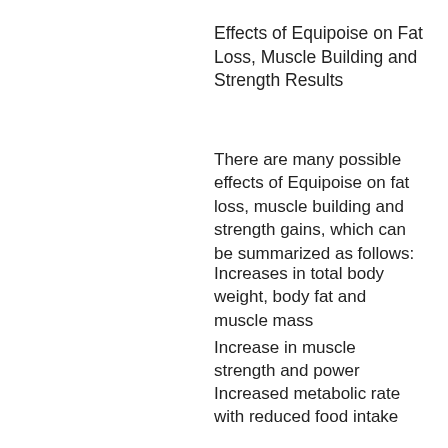Effects of Equipoise on Fat Loss, Muscle Building and Strength Results
There are many possible effects of Equipoise on fat loss, muscle building and strength gains, which can be summarized as follows:
Increases in total body weight, body fat and muscle mass
Increase in muscle strength and power
Increased metabolic rate with reduced food intake
Decreased food intake resulting in decreased body fat loss (decreased resting energy expenditure)
Decreased body fat loss caused by